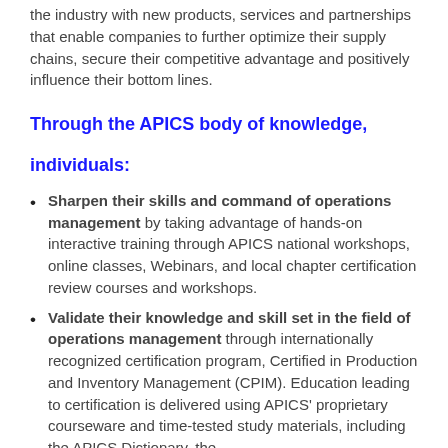the industry with new products, services and partnerships that enable companies to further optimize their supply chains, secure their competitive advantage and positively influence their bottom lines.
Through the APICS body of knowledge,
individuals:
Sharpen their skills and command of operations management by taking advantage of hands-on interactive training through APICS national workshops, online classes, Webinars, and local chapter certification review courses and workshops.
Validate their knowledge and skill set in the field of operations management through internationally recognized certification program, Certified in Production and Inventory Management (CPIM). Education leading to certification is delivered using APICS' proprietary courseware and time-tested study materials, including the APICS Dictionary, the